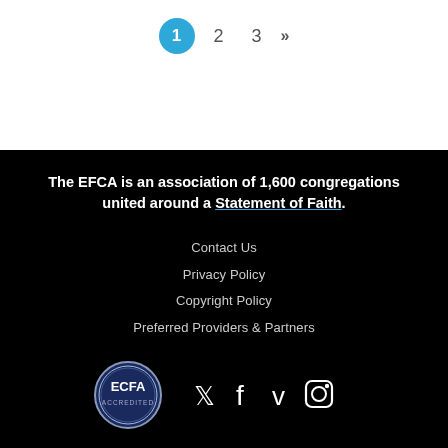1  2  3  »
The EFCA is an association of 1,600 congregations united around a Statement of Faith.
Contact Us
Privacy Policy
Copyright Policy
Preferred Providers & Partners
[Figure (logo): ECFA Accredited badge, circular logo with blue border]
[Figure (infographic): Social media icons: Twitter, Facebook, Vimeo, Instagram]
© 2002–2022 Evangelical Free Church of America. All rights reserved.